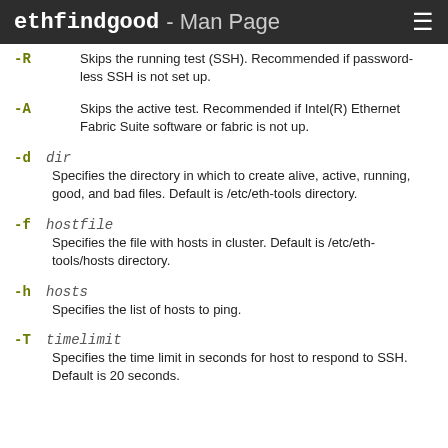ethfindgood - Man Page
-R  Skips the running test (SSH). Recommended if password-less SSH is not set up.
-A  Skips the active test. Recommended if Intel(R) Ethernet Fabric Suite software or fabric is not up.
-d dir  Specifies the directory in which to create alive, active, running, good, and bad files. Default is /etc/eth-tools directory.
-f hostfile  Specifies the file with hosts in cluster. Default is /etc/eth-tools/hosts directory.
-h hosts  Specifies the list of hosts to ping.
-T timelimit  Specifies the time limit in seconds for host to respond to SSH. Default is 20 seconds.